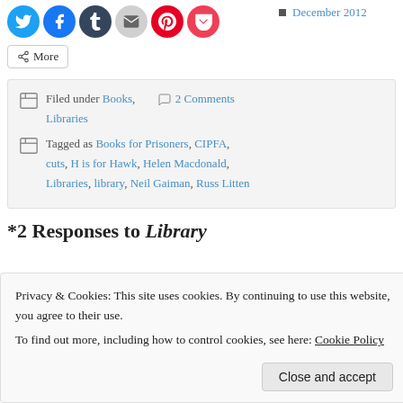[Figure (other): Social share buttons: Twitter (blue), Facebook (blue), Tumblr (dark), Email (gray), Pinterest (red), Pocket (red/pink) - circular icon buttons]
More
Filed under Books, Libraries   2 Comments
Tagged as Books for Prisoners, CIPFA, cuts, H is for Hawk, Helen Macdonald, Libraries, library, Neil Gaiman, Russ Litten
*2 Responses to Library
Privacy & Cookies: This site uses cookies. By continuing to use this website, you agree to their use.
To find out more, including how to control cookies, see here: Cookie Policy
Close and accept
December 2012
Anecdotist